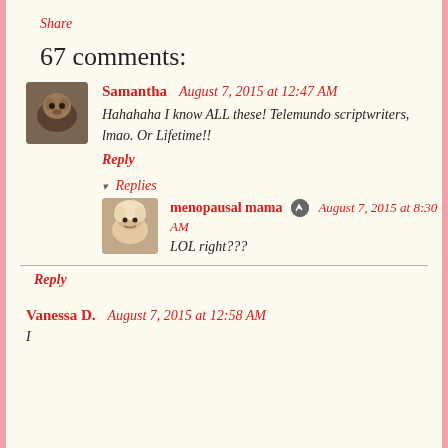Share
67 comments:
Samantha  August 7, 2015 at 12:47 AM
Hahahaha I know ALL these! Telemundo scriptwriters, lmao. Or Lifetime!!
Reply
▾ Replies
menopausal mama  August 7, 2015 at 8:30 AM
LOL right???
Reply
Vanessa D.  August 7, 2015 at 12:58 AM